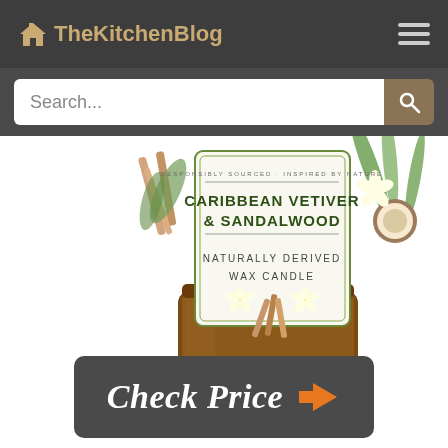TheKitchenBlog
Search...
[Figure (photo): A Caribbean Vetiver & Sandalwood naturally derived wax candle in an amber glass jar with decorative botanical label featuring coconut, tropical flowers, and cinnamon sticks.]
Check Price →